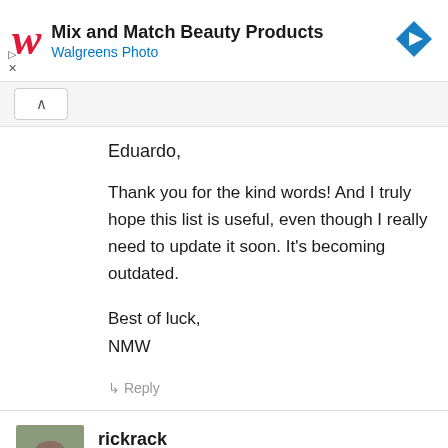[Figure (screenshot): Walgreens Photo advertisement banner with red cursive W logo, text 'Mix and Match Beauty Products' and 'Walgreens Photo', blue navigation arrow icon on right, and play/close controls on left]
Eduardo,
Thank you for the kind words! And I truly hope this list is useful, even though I really need to update it soon. It's becoming outdated.
Best of luck,
NMW
↳ Reply
[Figure (photo): Profile photo of a man in a suit with short hair]
rickrack
JULY 2, 2016 AT 13:00